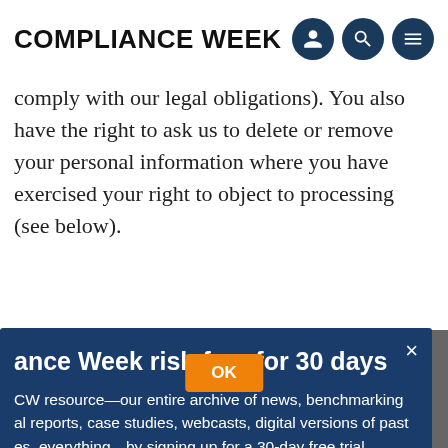COMPLIANCE WEEK
comply with our legal obligations). You also have the right to ask us to delete or remove your personal information where you have exercised your right to object to processing (see below).
ance Week risk-free for 30 days
CW resource—our entire archive of news, benchmarking al reports, case studies, webcasts, digital versions of past es, everything—by signing up for a 30-day free trial.
s only. Terms and conditions apply.
Up Now
processing your personal information for direct marketing purposes.